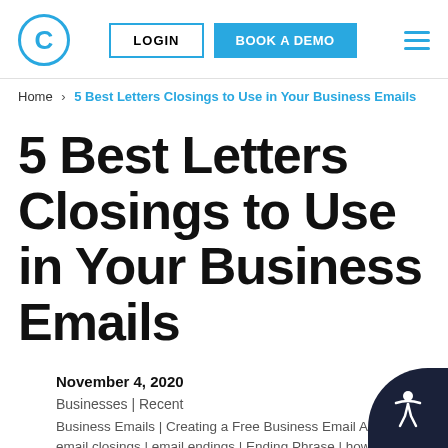C LOGIN BOOK A DEMO ☰
Home > 5 Best Letters Closings to Use in Your Business Emails
5 Best Letters Closings to Use in Your Business Emails
November 4, 2020
Businesses | Recent
Business Emails | Creating a Free Business Email Address | email closings | email endings | Ending Phrase | how to end an email | ways